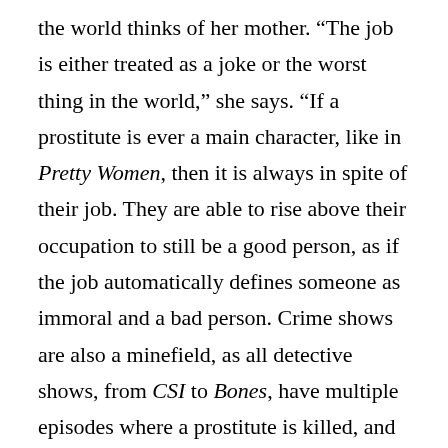the world thinks of her mother. “The job is either treated as a joke or the worst thing in the world,” she says. “If a prostitute is ever a main character, like in Pretty Women, then it is always in spite of their job. They are able to rise above their occupation to still be a good person, as if the job automatically defines someone as immoral and a bad person. Crime shows are also a minefield, as all detective shows, from CSI to Bones, have multiple episodes where a prostitute is killed, and everyone is shocked as she was ‘such a nice girl,’ as if her job changes that fact.” To be fair to the crime shows, she says, “the prevalence of prostitutes as murder victims may just